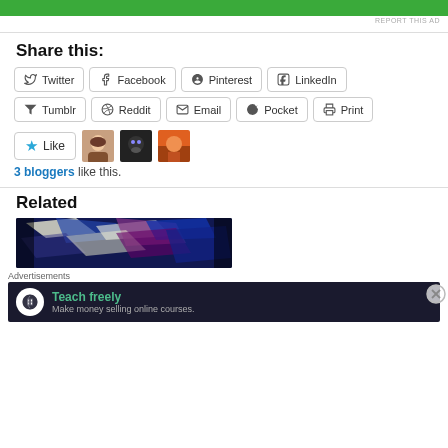[Figure (other): Green advertisement bar at top]
REPORT THIS AD
Share this:
Twitter Facebook Pinterest LinkedIn Tumblr Reddit Email Pocket Print
[Figure (other): Like button with star icon and 3 blogger avatars]
3 bloggers like this.
Related
[Figure (photo): Abstract colorful artwork with blue white and purple streaks]
Advertisements
[Figure (other): Dark advertisement banner: Teach freely - Make money selling online courses.]